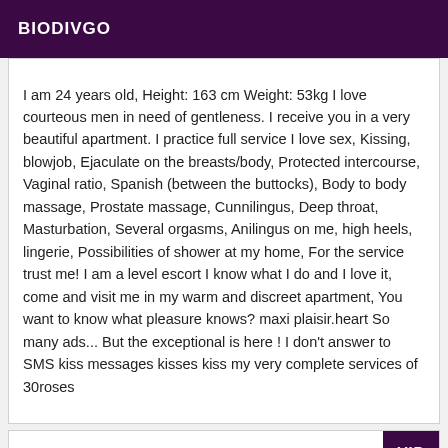BIODIVGO
I am 24 years old, Height: 163 cm Weight: 53kg I love courteous men in need of gentleness. I receive you in a very beautiful apartment. I practice full service I love sex, Kissing, blowjob, Ejaculate on the breasts/body, Protected intercourse, Vaginal ratio, Spanish (between the buttocks), Body to body massage, Prostate massage, Cunnilingus, Deep throat, Masturbation, Several orgasms, Anilingus on me, high heels, lingerie, Possibilities of shower at my home, For the service trust me! I am a level escort I know what I do and I love it, come and visit me in my warm and discreet apartment, You want to know what pleasure knows? maxi plaisir.heart So many ads... But the exceptional is here ! I don't answer to SMS kiss messages kisses kiss my very complete services of 30roses
VIP